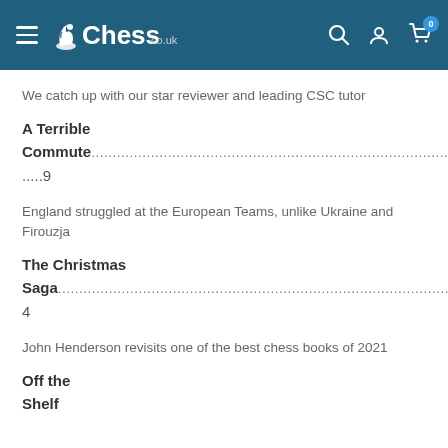Chess.co.uk
We catch up with our star reviewer and leading CSC tutor
A Terrible Commute.........9
England struggled at the European Teams, unlike Ukraine and Firouzja
The Christmas Saga.........14
John Henderson revisits one of the best chess books of 2021
Off the Shelf